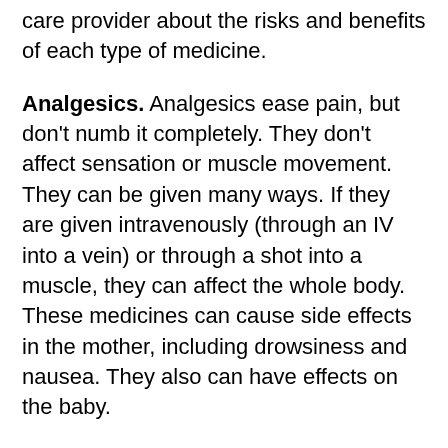care provider about the risks and benefits of each type of medicine.
Analgesics. Analgesics ease pain, but don't numb it completely. They don't affect sensation or muscle movement. They can be given many ways. If they are given intravenously (through an IV into a vein) or through a shot into a muscle, they can affect the whole body. These medicines can cause side effects in the mother, including drowsiness and nausea. They also can have effects on the baby.
Regional anesthesia. This is what most women think of when they consider pain medicine during labor. By blocking the feeling from specific regions of the body, these methods can be used for pain relief in both vaginal and cesarean section deliveries.